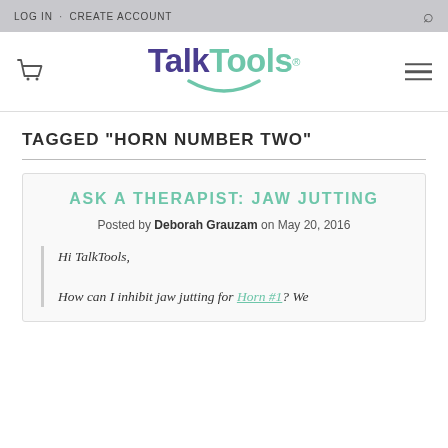LOG IN · CREATE ACCOUNT
[Figure (logo): TalkTools logo with purple 'Talk' and teal 'Tools' text and a teal smile arc beneath]
TAGGED "HORN NUMBER TWO"
ASK A THERAPIST: JAW JUTTING
Posted by Deborah Grauzam on May 20, 2016
Hi TalkTools,
How can I inhibit jaw jutting for Horn #1? We